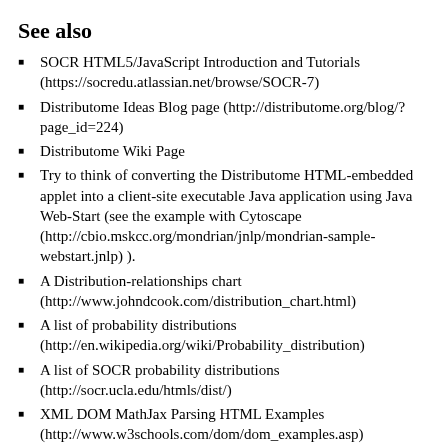See also
SOCR HTML5/JavaScript Introduction and Tutorials (https://socredu.atlassian.net/browse/SOCR-7)
Distributome Ideas Blog page (http://distributome.org/blog/?page_id=224)
Distributome Wiki Page
Try to think of converting the Distributome HTML-embedded applet into a client-site executable Java application using Java Web-Start (see the example with Cytoscape (http://cbio.mskcc.org/mondrian/jnlp/mondrian-sample-webstart.jnlp) ).
A Distribution-relationships chart (http://www.johndcook.com/distribution_chart.html)
A list of probability distributions (http://en.wikipedia.org/wiki/Probability_distribution)
A list of SOCR probability distributions (http://socr.ucla.edu/htmls/dist/)
XML DOM MathJax Parsing HTML Examples (http://www.w3schools.com/dom/dom_examples.asp)
JavaScript By-Example Tutorial (http://www.w3schools.com/js/default.asp) and JavaScript Object API (http://www.w3schools.com/jsref/default.asp)